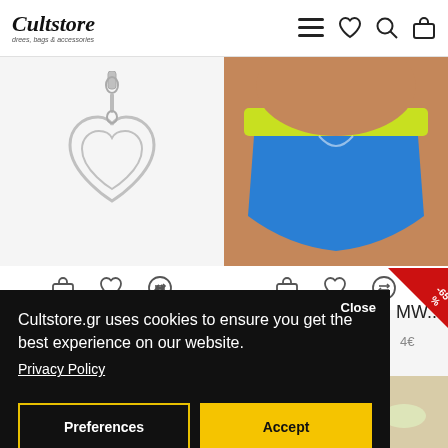[Figure (screenshot): Cultstore website header with logo, hamburger menu, heart, search, and bag icons]
[Figure (photo): Silver heart pendant charm on white background]
[Figure (photo): Woman wearing blue and yellow/green bikini bottoms]
MW...
4€
[Figure (screenshot): Cookie consent overlay on Cultstore.gr website. Text: Cultstore.gr uses cookies to ensure you get the best experience on our website. Privacy Policy. Buttons: Preferences, Accept. Close button. -65% sale badge visible in background.]